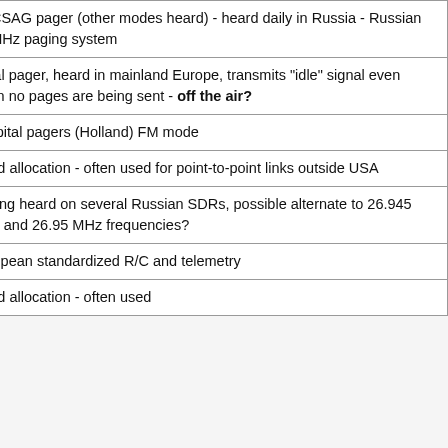| Frequency | Description |
| --- | --- |
| 26.945 MHz | POCSAG pager (other modes heard) - heard daily in Russia - Russian 26 MHz paging system |
| 26.950 MHz | Local pager, heard in mainland Europe, transmits "idle" signal even when no pages are being sent - off the air? |
| 26.950 MHz | Hospital pagers (Holland) FM mode |
| 26.950 MHz | Fixed allocation - often used for point-to-point links outside USA |
| 26.955 MHz | Paging heard on several Russian SDRs, possible alternate to 26.945 MHz and 26.95 MHz frequencies? |
| 26.955 MHz | European standardized R/C and telemetry |
|  | Fixed allocation - often used |